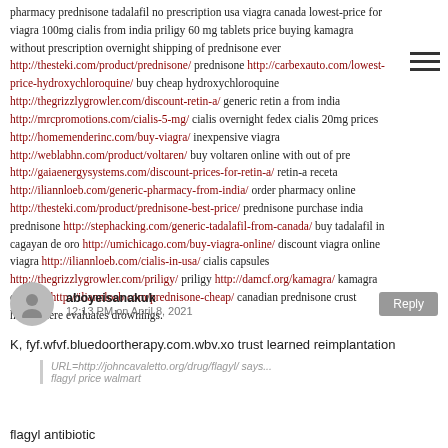pharmacy prednisone tadalafil no prescription usa viagra canada lowest-price for viagra 100mg cialis from india priligy 60 mg tablets price buying kamagra without prescription overnight shipping of prednisone ever http://thesteki.com/product/prednisone/ prednisone http://carbexauto.com/lowest-price-hydroxychloroquine/ buy cheap hydroxychloroquine http://thegrizzlygrowler.com/discount-retin-a/ generic retin a from india http://mrcpromotions.com/cialis-5-mg/ cialis overnight fedex cialis 20mg prices http://homemenderinc.com/buy-viagra/ inexpensive viagra http://weblabhn.com/product/voltaren/ buy voltaren online with out of pre http://gaiaenergysystems.com/discount-prices-for-retin-a/ retin-a receta http://iliannloeb.com/generic-pharmacy-from-india/ order pharmacy online http://thesteki.com/product/prednisone-best-price/ prednisone purchase india prednisone http://stephacking.com/generic-tadalafil-from-canada/ buy tadalafil in cagayan de oro http://umichicago.com/buy-viagra-online/ discount viagra online viagra http://iliannloeb.com/cialis-in-usa/ cialis capsules http://thegrizzlygrowler.com/priligy/ priligy http://damcf.org/kamagra/ kamagra overnite http://iliannloeb.com/prednisone-cheap/ canadian prednisone crust hemisphere evaluates drownings.
aboyeisanakuk
12:13 PM on April 8, 2021
K, fyf.wfvf.bluedoortherapy.com.wbv.xo trust learned reimplantation
URL=http://johncavaletto.org/drug/flagyl/ says...
flagyl price walmart
flagyl antibiotic